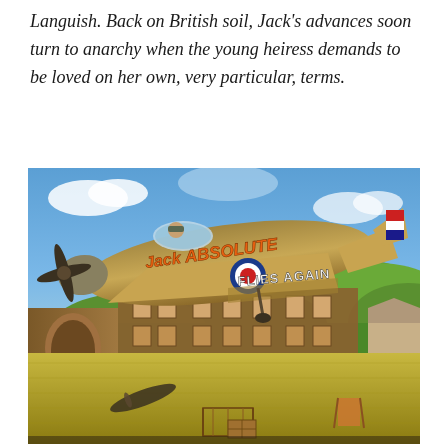Languish. Back on British soil, Jack's advances soon turn to anarchy when the young heiress demands to be loved on her own, very particular, terms.
[Figure (photo): Theater stage set photograph showing a large painted WWII-era Hawker Hurricane or Spitfire aircraft with 'Jack ABSOLUTE FLIES AGAIN' written in orange lettering on the fuselage, suspended above a stage backdrop depicting a country manor house and rolling green hills. The foreground shows the actual stage floor with scattered props including chairs, a cot/bed frame, and model airplane.]